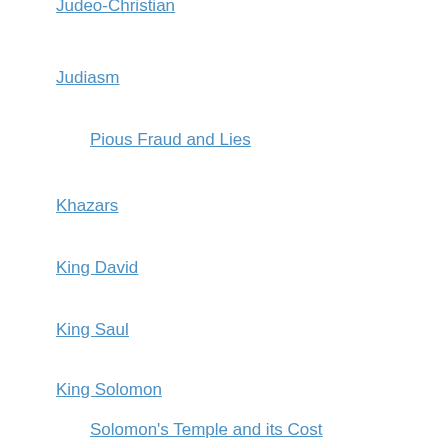Judeo-Christian
Judiasm
Pious Fraud and Lies
Khazars
King David
King Saul
King Solomon
Solomon's Temple and its Cost
KJV
Kuzari Argument
Mass Revelation (Sinai, Fatima et al)
Law